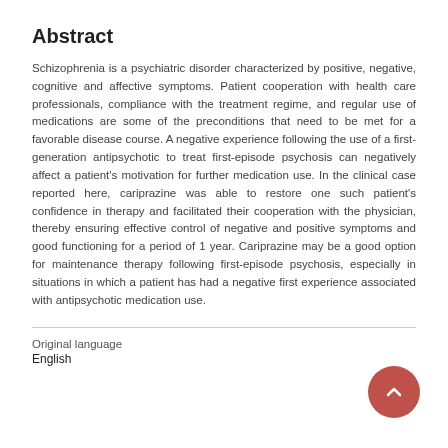Abstract
Schizophrenia is a psychiatric disorder characterized by positive, negative, cognitive and affective symptoms. Patient cooperation with health care professionals, compliance with the treatment regime, and regular use of medications are some of the preconditions that need to be met for a favorable disease course. A negative experience following the use of a first-generation antipsychotic to treat first-episode psychosis can negatively affect a patient's motivation for further medication use. In the clinical case reported here, cariprazine was able to restore one such patient's confidence in therapy and facilitated their cooperation with the physician, thereby ensuring effective control of negative and positive symptoms and good functioning for a period of 1 year. Cariprazine may be a good option for maintenance therapy following first-episode psychosis, especially in situations in which a patient has had a negative first experience associated with antipsychotic medication use.
Original language
English